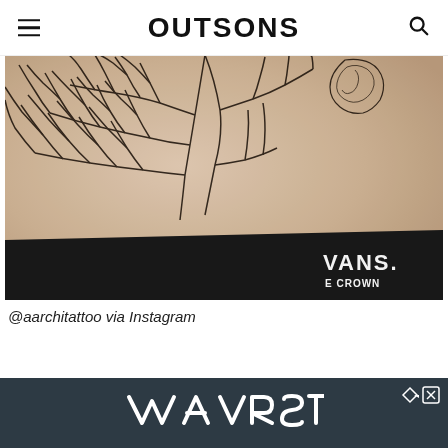OUTSONS
[Figure (photo): Close-up photo of a person's torso showing a black fine-line tattoo depicting tree branches spreading across the skin, with a rose tattoo visible at the upper right. The person is wearing a black Vans shirt visible at the bottom.]
@aarchitattoo via Instagram
[Figure (other): Advertisement banner for VRST with dark teal/navy background, white VRST logo text, and close/forward navigation icons]